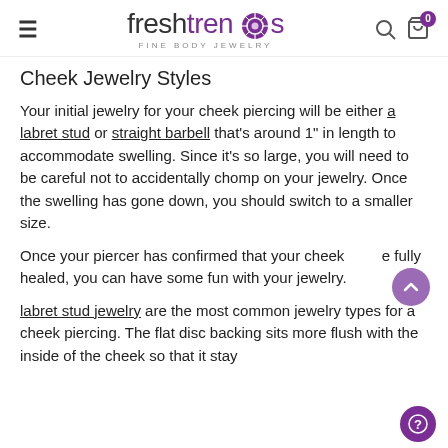freshtrends FINE BODY JEWELRY
Cheek Jewelry Styles
Your initial jewelry for your cheek piercing will be either a labret stud or straight barbell that's around 1" in length to accommodate swelling. Since it's so large, you will need to be careful not to accidentally chomp on your jewelry. Once the swelling has gone down, you should switch to a smaller size.
Once your piercer has confirmed that your cheek are fully healed, you can have some fun with your jewelry.
labret stud jewelry are the most common jewelry types for a cheek piercing. The flat disc backing sits more flush with the inside of the cheek so that it stay